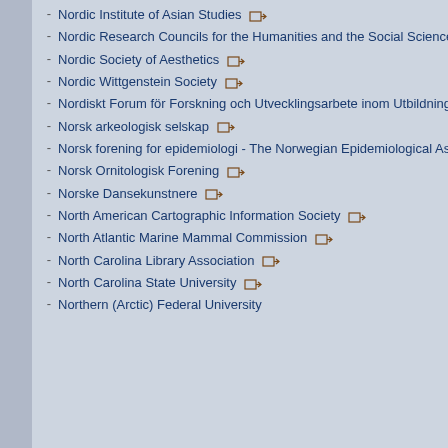Nordic Institute of Asian Studies
Nordic Research Councils for the Humanities and the Social Sciences
Nordic Society of Aesthetics
Nordic Wittgenstein Society
Nordiskt Forum för Forskning och Utvecklingsarbete inom Utbildning i Slöjd
Norsk arkeologisk selskap
Norsk forening for epidemiologi - The Norwegian Epidemiological Association
Norsk Ornitologisk Forening
Norske Dansekunstnere
North American Cartographic Information Society
North Atlantic Marine Mammal Commission
North Carolina Library Association
North Carolina State University
Northern (Arctic) Federal University